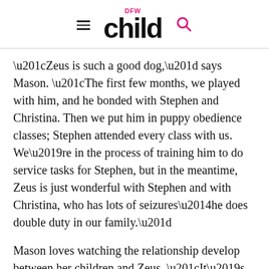DFW Child
“Zeus is such a good dog,” says Mason. “The first few months, we played with him, and he bonded with Stephen and Christina. Then we put him in puppy obedience classes; Stephen attended every class with us. We’re in the process of training him to do service tasks for Stephen, but in the meantime, Zeus is just wonderful with Stephen and with Christina, who has lots of seizures—he does double duty in our family.”
Mason loves watching the relationship develop between her children and Zeus. “It’s been especially great for Stephen to have companionship. When you have a child in a wheelchair, a lot of times they